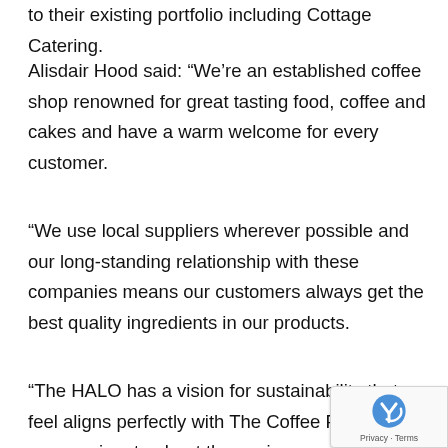to their existing portfolio including Cottage Catering.
Alisdair Hood said: “We’re an established coffee shop renowned for great tasting food, coffee and cakes and have a warm welcome for every customer.
“We use local suppliers wherever possible and our long-standing relationship with these companies means our customers always get the best quality ingredients in our products.
“The HALO has a vision for sustainability that we feel aligns perfectly with The Coffee Press. We are passionate about the environment and have been